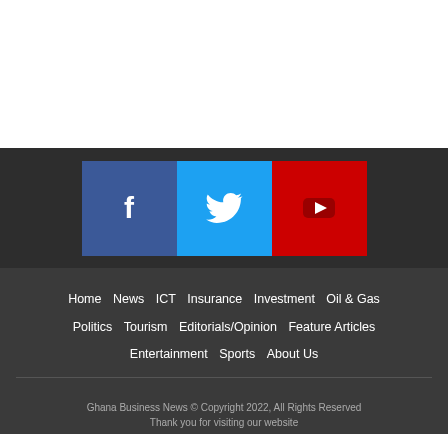[Figure (other): White blank space at top of page]
[Figure (infographic): Social media icons: Facebook (blue square with f), Twitter (light blue square with bird), YouTube (red square with play button triangle)]
Home   News   ICT   Insurance   Investment   Oil & Gas   Politics   Tourism   Editorials/Opinion   Feature Articles   Entertainment   Sports   About Us
Ghana Business News © Copyright 2022, All Rights Reserved
Thank you for visiting our website